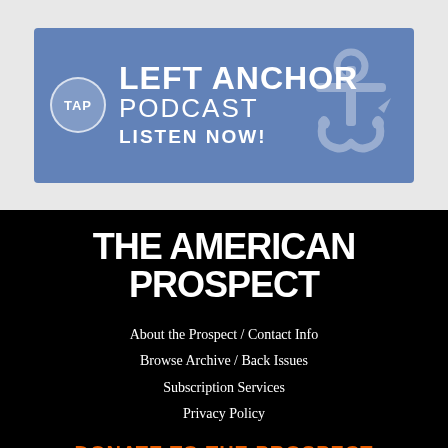[Figure (logo): Left Anchor Podcast banner with blue background, TAP circle logo, anchor icon, and text reading LEFT ANCHOR PODCAST LISTEN NOW!]
THE AMERICAN PROSPECT
About the Prospect / Contact Info
Browse Archive / Back Issues
Subscription Services
Privacy Policy
DONATE TO THE PROSPECT